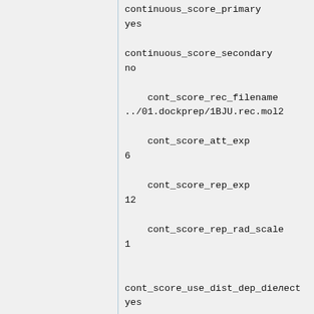continuous_score_primary
yes

continuous_score_secondary
no

    cont_score_rec_filename
../01.dockprep/1BJU.rec.mol2

    cont_score_att_exp
6

    cont_score_rep_exp
12

    cont_score_rep_rad_scale
1


cont_score_use_dist_dep_dielectric
yes

    cont_score_dielectric
4.0